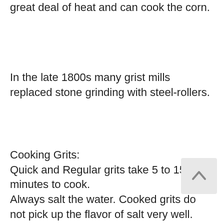great deal of heat and can cook the corn.
In the late 1800s many grist mills replaced stone grinding with steel-rollers.
Cooking Grits:
Quick and Regular grits take 5 to 15 minutes to cook.
Always salt the water. Cooked grits do not pick up the flavor of salt very well.
Cook in a ratio of 1 cup grits to 4 cups liquid.
Grits can be cooked in water or a mixture of water and chicken broth or a mixture of water and milk (half and half or cream).